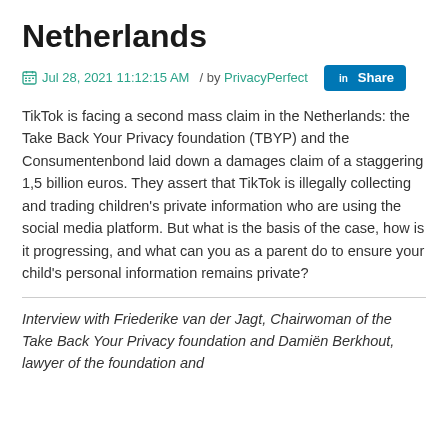Netherlands
Jul 28, 2021 11:12:15 AM / by PrivacyPerfect
TikTok is facing a second mass claim in the Netherlands: the Take Back Your Privacy foundation (TBYP) and the Consumentenbond laid down a damages claim of a staggering 1,5 billion euros. They assert that TikTok is illegally collecting and trading children's private information who are using the social media platform. But what is the basis of the case, how is it progressing, and what can you as a parent do to ensure your child's personal information remains private?
Interview with Friederike van der Jagt, Chairwoman of the Take Back Your Privacy foundation and Damiën Berkhout, lawyer of the foundation and